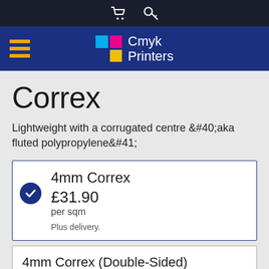Cmyk Printers
Correx
Lightweight with a corrugated centre &#40;aka fluted polypropylene&#41;
4mm Correx
£31.90
per sqm
Plus delivery.
4mm Correx (Double-Sided)